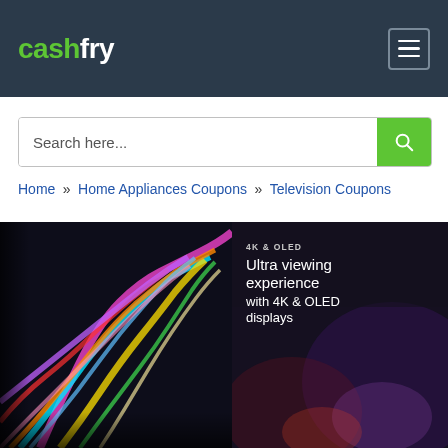cashfry
Search here...
Home » Home Appliances Coupons » Television Coupons
[Figure (photo): Colorful swirling abstract painting on a TV screen display]
[Figure (photo): Dark display with text overlay: 4K & OLED - Ultra viewing experience with 4K & OLED displays]